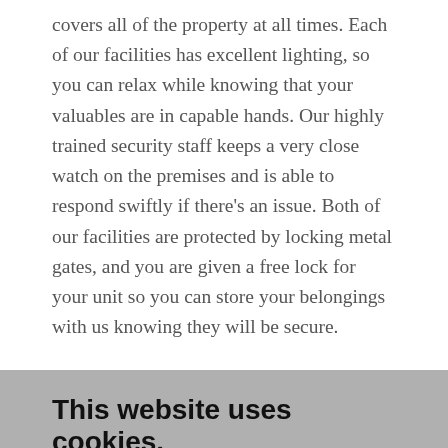covers all of the property at all times. Each of our facilities has excellent lighting, so you can relax while knowing that your valuables are in capable hands. Our highly trained security staff keeps a very close watch on the premises and is able to respond swiftly if there's an issue. Both of our facilities are protected by locking metal gates, and you are given a free lock for your unit so you can store your belongings with us knowing they will be secure.
This website uses cookies.
We use cookies to analyze website traffic and optimize your website experience. By accepting our use of cookies, your data will be aggregated with all other user data.